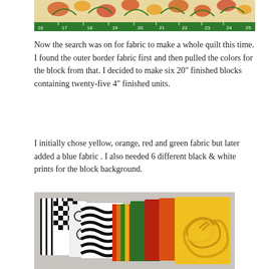[Figure (photo): Top portion of a fabric/quilt sample with a ruler showing measurements from 16 to 25, on a green background with floral fabric above]
Now the search was on for fabric to make a whole quilt this time.  I found the outer border fabric first and then pulled the colors for the block from that.  I decided to make six 20" finished blocks containing twenty-five 4" finished units.
I initially chose yellow, orange, red and green fabric but later added a blue fabric .   I also needed 6 different black & white prints for the block background.
[Figure (photo): A fan of folded fabric swatches showing black and white patterned fabrics (stripes, checks, floral, wavy patterns) on the left and colorful fabrics (green, red, orange, yellow with swirl pattern) on the right, arranged on a gray background]